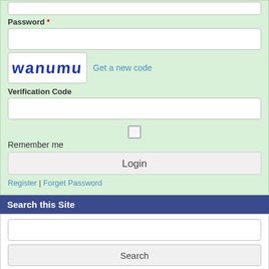Password *
[Figure (screenshot): Password text input field (empty)]
[Figure (screenshot): CAPTCHA image showing 'wanumu' in blue stylized text, with 'Get a new code' link]
Verification Code
[Figure (screenshot): Verification code text input field (empty)]
[Figure (screenshot): Checkbox (unchecked)]
Remember me
Login
Register | Forget Password
Search this Site
[Figure (screenshot): Search text input field (empty)]
Search